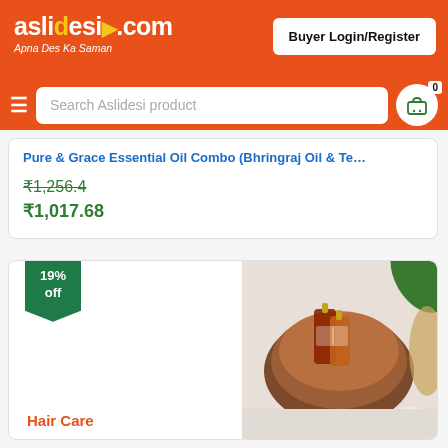aslidesi.com - Apna Des Ka Saman - Buyer Login/Register - Search Aslidesi product
Pure & Grace Essential Oil Combo (Bhringraj Oil & Tea...
₹1,256.4
₹1,017.68
19% off
[Figure (photo): Product photo showing two oil bottles in a wooden bowl with garlic and natural ingredients on white background]
Hair Care